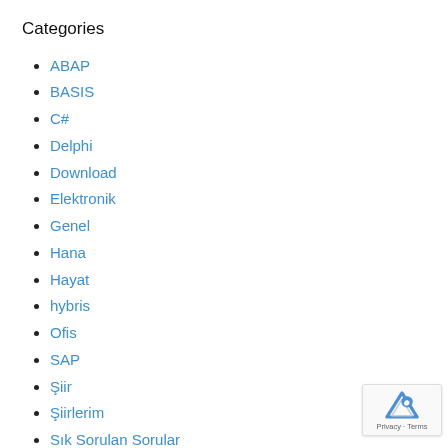Categories
ABAP
BASIS
C#
Delphi
Download
Elektronik
Genel
Hana
Hayat
hybris
Ofis
SAP
Şiir
Şiirlerim
Sık Sorulan Sorular
Yazılım